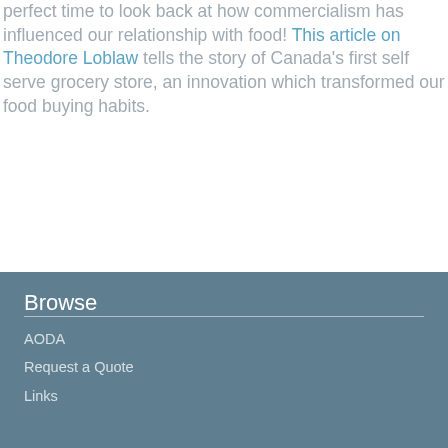perfect time to look back at how commercialism has influenced our relationship with food! This article on Theodore Loblaw tells the story of Canada's first self serve grocery store, an innovation which transformed our food buying habits.
[Figure (illustration): Blue circular accessibility icon with a white person figure (universal accessibility symbol)]
Browse
AODA
Request a Quote
Links